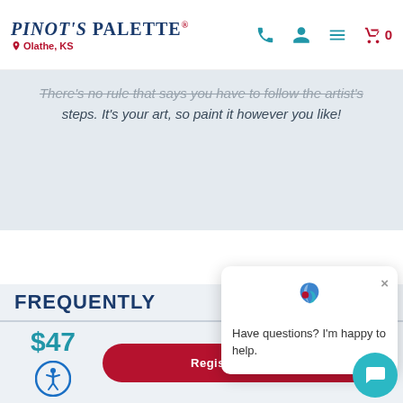Pinot's Palette — Olathe, KS
There's no rule that says you have to follow the artist's steps. It's your art, so paint it however you like!
FREQUENTLY
$47
[Figure (screenshot): Chatbot popup with Pinot's Palette logo, close X button, and message: Have questions? I'm happy to help.]
Register For Class